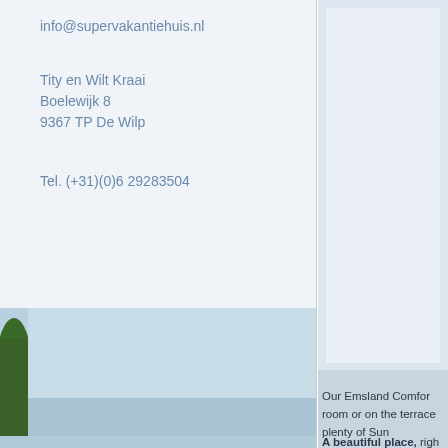info@supervakantiehuis.nl
Tity en Wilt Kraai
Boelewijk 8
9367 TP De Wilp
Tel. (+31)(0)6 29283504
[Figure (photo): Outdoor photo showing green trees and blue sky, partially visible on left side of page]
Our Emsland Comfor room or on the terrace plenty of Sun
A beautiful place, righ